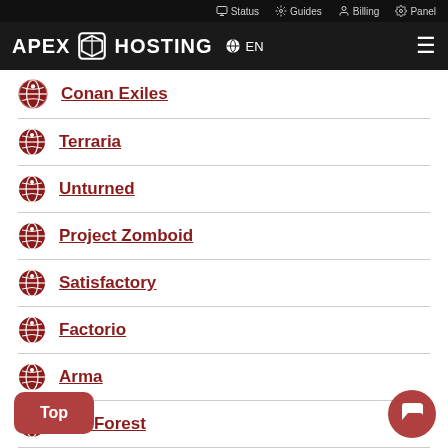Status   Guides   Billing   Panel
APEX HOSTING  EN
Conan Exiles
Terraria
Unturned
Project Zomboid
Satisfactory
Factorio
Arma
The Forest
…ing